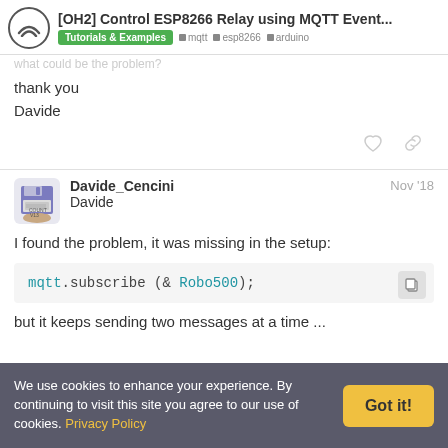[OH2] Control ESP8266 Relay using MQTT Event... | Tutorials & Examples | mqtt | esp8266 | arduino
what could be the problem?
thank you
Davide
Davide_Cencini Davide  Nov '18
I found the problem, it was missing in the setup:
but it keeps sending two messages at a time ...
We use cookies to enhance your experience. By continuing to visit this site you agree to our use of cookies. Privacy Policy